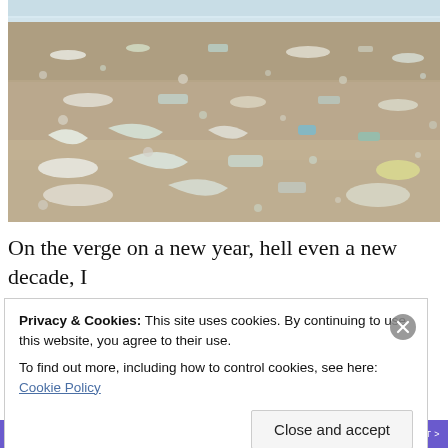[Figure (photo): A sandy beach covered extensively with plastic waste and litter — plastic bags, bottles, wrappers, and other debris scattered across the sand with ocean water visible in the background.]
On the verge on a new year, hell even a new decade, I
Privacy & Cookies: This site uses cookies. By continuing to use this website, you agree to their use.
To find out more, including how to control cookies, see here: Cookie Policy
Close and accept